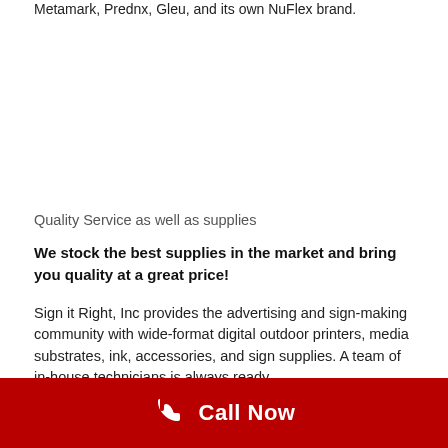Metamark, Prednx, Gleu-, and its own NuFlex brand.
Quality Service as well as supplies
We stock the best supplies in the market and bring you quality at a great price!
Sign it Right, Inc provides the advertising and sign-making community with wide-format digital outdoor printers, media substrates, ink, accessories, and sign supplies. A team of in-house technicians is always ready
Call Now